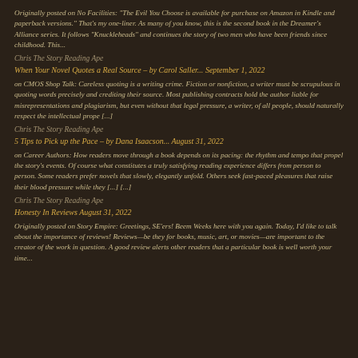Originally posted on No Facilities: "The Evil You Choose is available for purchase on Amazon in Kindle and paperback versions." That's my one-liner. As many of you know, this is the second book in the Dreamer's Alliance series. It follows "Knuckleheads" and continues the story of two men who have been friends since childhood. This...
Chris The Story Reading Ape
When Your Novel Quotes a Real Source – by Carol Saller... September 1, 2022
on CMOS Shop Talk: Careless quoting is a writing crime. Fiction or nonfiction, a writer must be scrupulous in quoting words precisely and crediting their source. Most publishing contracts hold the author liable for misrepresentations and plagiarism, but even without that legal pressure, a writer, of all people, should naturally respect the intellectual prope [...]
Chris The Story Reading Ape
5 Tips to Pick up the Pace – by Dana Isaacson... August 31, 2022
on Career Authors: How readers move through a book depends on its pacing: the rhythm and tempo that propel the story's events. Of course what constitutes a truly satisfying reading experience differs from person to person. Some readers prefer novels that slowly, elegantly unfold. Others seek fast-paced pleasures that raise their blood pressure while they [...] [...]
Chris The Story Reading Ape
Honesty In Reviews August 31, 2022
Originally posted on Story Empire: Greetings, SE'ers! Beem Weeks here with you again. Today, I'd like to talk about the importance of reviews! Reviews—be they for books, music, art, or movies—are important to the creator of the work in question. A good review alerts other readers that a particular book is well worth your time...